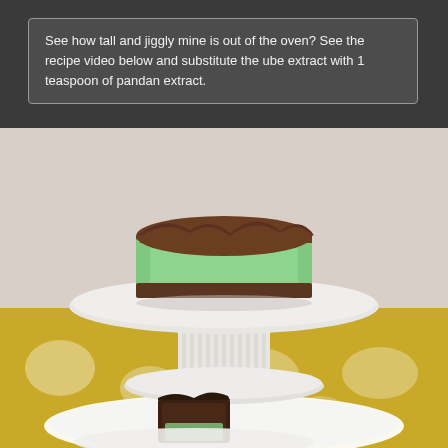See how tall and jiggly mine is out of the oven? See the recipe video below and substitute the ube extract with 1 teaspoon of pandan extract.
[Figure (photo): A green pandan cheesecake with a brown crust on a white pedestal cake stand, with a yellow and white patterned tablecloth. In the foreground is a slice of the cake showing the green interior and dark crust on a white plate.]